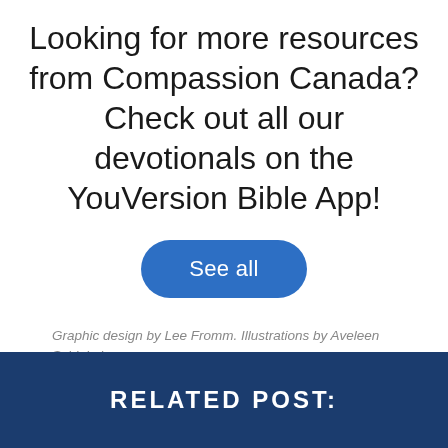Looking for more resources from Compassion Canada? Check out all our devotionals on the YouVersion Bible App!
See all
Graphic design by Lee Fromm. Illustrations by Aveleen Schinkel.
Activities  colouring sheets  families  Free downloads  kids  Scripture
RELATED POST: